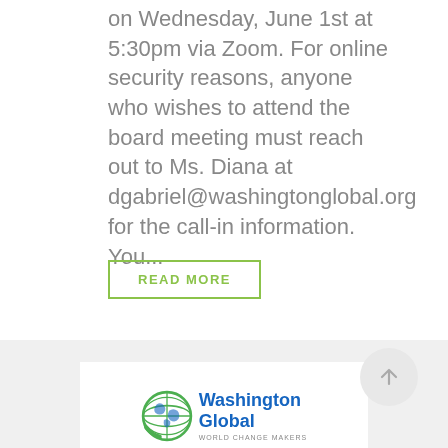on Wednesday, June 1st at 5:30pm via Zoom. For online security reasons, anyone who wishes to attend the board meeting must reach out to Ms. Diana at dgabriel@washingtonglobal.org for the call-in information. You...
READ MORE
[Figure (logo): Washington Global logo with globe icon and text 'Washington Global' in blue]